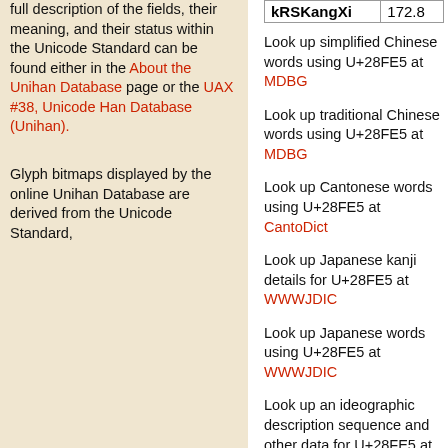| kRSKangXi | 172.8 |
full description of the fields, their meaning, and their status within the Unicode Standard can be found either in the About the Unihan Database page or the UAX #38, Unicode Han Database (Unihan).
Look up simplified Chinese words using U+28FE5 at MDBG
Look up traditional Chinese words using U+28FE5 at MDBG
Look up Cantonese words using U+28FE5 at CantoDict
Look up Japanese kanji details for U+28FE5 at WWWJDIC
Look up Japanese words using U+28FE5 at WWWJDIC
Look up an ideographic description sequence and other data for U+28FE5 at the CHISE Project
Look up data on U+28FE5 at GlyphWiki
Glyph bitmaps displayed by the online Unihan Database are derived from the Unicode Standard,